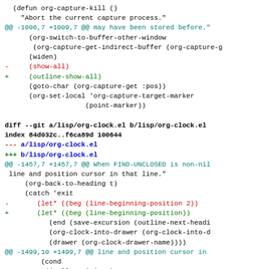(defun org-capture-kill ()
  "Abort the current capture process."
@@ -1006,7 +1009,7 @@ may have been stored before."
      (org-switch-to-buffer-other-window
       (org-capture-get-indirect-buffer (org-capture-g
      (widen)
-     (show-all)
+     (outline-show-all)
      (goto-char (org-capture-get :pos))
      (org-set-local 'org-capture-target-marker
                    (point-marker))
diff --git a/lisp/org-clock.el b/lisp/org-clock.el
index 84d032c..f6ca89d 100644
--- a/lisp/org-clock.el
+++ b/lisp/org-clock.el
@@ -1457,7 +1457,7 @@ When FIND-UNCLOSED is non-nil
 line and position cursor in that line."
     (org-back-to-heading t)
     (catch 'exit
-      (let* ((beg (line-beginning-position 2))
+      (let* ((beg (line-beginning-position))
             (end (save-excursion (outline-next-headi
             (org-clock-into-drawer (org-clock-into-d
             (drawer (org-clock-drawer-name)))
@@ -1499,10 +1499,7 @@ line and position cursor in
          (cond
           ((null positions)
            ;; Skip planning line and property drawer